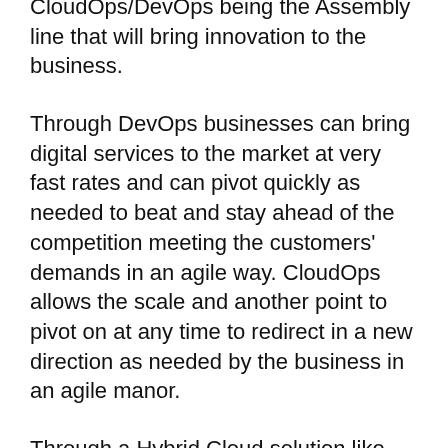CloudOps/DevOps being the Assembly line that will bring innovation to the business.
Through DevOps businesses can bring digital services to the market at very fast rates and can pivot quickly as needed to beat and stay ahead of the competition meeting the customers' demands in an agile way. CloudOps allows the scale and another point to pivot on at any time to redirect in a new direction as needed by the business in an agile manor.
Through a Hybrid Cloud solution like Azure Stack things IoT, Microservices, extreme automation, hyper-scale, and agility can be realized for the business empowering Digital Transformation from the core.